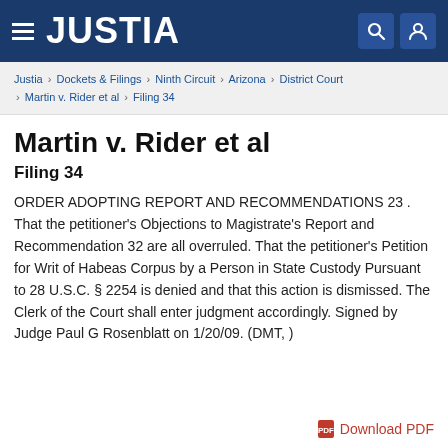JUSTIA
Justia › Dockets & Filings › Ninth Circuit › Arizona › District Court › Martin v. Rider et al › Filing 34
Martin v. Rider et al
Filing 34
ORDER ADOPTING REPORT AND RECOMMENDATIONS 23 . That the petitioner's Objections to Magistrate's Report and Recommendation 32 are all overruled. That the petitioner's Petition for Writ of Habeas Corpus by a Person in State Custody Pursuant to 28 U.S.C. § 2254 is denied and that this action is dismissed. The Clerk of the Court shall enter judgment accordingly. Signed by Judge Paul G Rosenblatt on 1/20/09. (DMT, )
Download PDF